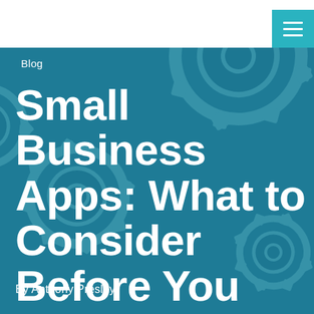[Figure (illustration): Dark teal/blue hero background with semi-transparent overlapping gear/cog wheel illustrations arranged across the full image area.]
Blog
Small Business Apps: What to Consider Before You Get One
By Anthony Presley